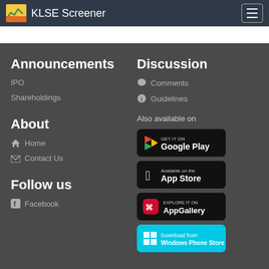KLSE Screener
Announcements
IPO
Shareholdings
About
Home
Contact Us
Follow us
Facebook
Discussion
Comments
Guidelines
Also available on
[Figure (screenshot): Google Play store badge]
[Figure (screenshot): Apple App Store badge]
[Figure (screenshot): Huawei AppGallery badge]
[Figure (screenshot): Windows Phone Store badge]